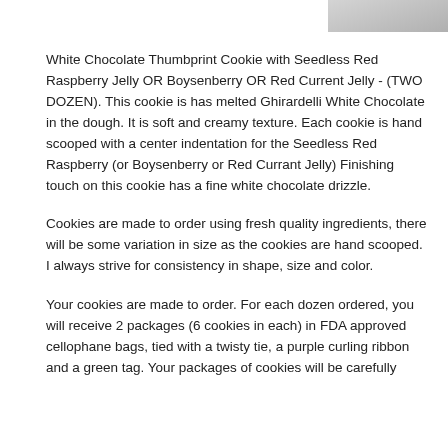[Figure (photo): Partial photo of white chocolate thumbprint cookies, cropped at top-right corner of page]
White Chocolate Thumbprint Cookie with Seedless Red Raspberry Jelly OR Boysenberry OR Red Current Jelly - (TWO DOZEN). This cookie is has melted Ghirardelli White Chocolate in the dough. It is soft and creamy texture. Each cookie is hand scooped with a center indentation for the Seedless Red Raspberry (or Boysenberry or Red Currant Jelly) Finishing touch on this cookie has a fine white chocolate drizzle.
Cookies are made to order using fresh quality ingredients, there will be some variation in size as the cookies are hand scooped. I always strive for consistency in shape, size and color.
Your cookies are made to order. For each dozen ordered, you will receive 2 packages (6 cookies in each) in FDA approved cellophane bags, tied with a twisty tie, a purple curling ribbon and a green tag. Your packages of cookies will be carefully